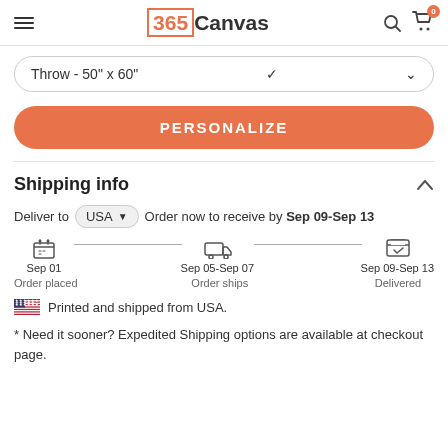365Canvas
Throw - 50" x 60"
PERSONALIZE
Shipping info
Deliver to USA  Order now to receive by Sep 09-Sep 13
[Figure (infographic): Shipping timeline showing three stages: Order placed Sep 01, Order ships Sep 05-Sep 07, Delivered Sep 09-Sep 13]
Printed and shipped from USA.
* Need it sooner? Expedited Shipping options are available at checkout page.